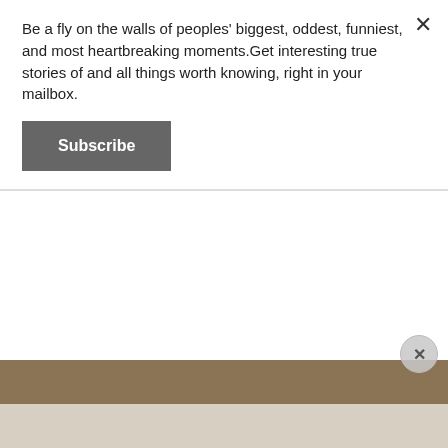Be a fly on the walls of peoples' biggest, oddest, funniest, and most heartbreaking moments.Get interesting true stories of and all things worth knowing, right in your mailbox.
Subscribe
That’s a resourceful friend.
[Figure (photo): Partial photo showing a person, upper portion has dark brown/tan background and lower portion shows lighter beige tones.]